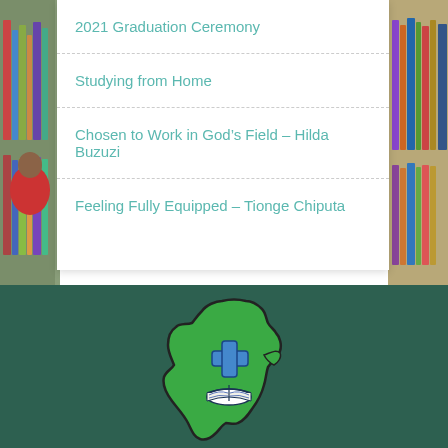[Figure (photo): Background photo of people studying in a library, partially visible on left and right edges behind a white menu card]
2021 Graduation Ceremony
Studying from Home
Chosen to Work in God’s Field – Hilda Buzuzi
Feeling Fully Equipped – Tionge Chiputa
[Figure (logo): Logo showing green Africa continent silhouette with a blue cross and open book, on dark green background]